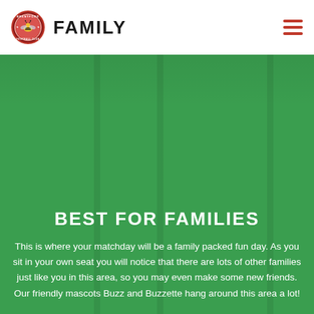Brentford Football Club — FAMILY
[Figure (logo): Brentford FC circular badge logo with bee and red border, next to the word FAMILY in bold black uppercase letters, and a red hamburger menu icon on the right]
BEST FOR FAMILIES
This is where your matchday will be a family packed fun day. As you sit in your own seat you will notice that there are lots of other families just like you in this area, so you may even make some new friends. Our friendly mascots Buzz and Buzzette hang around this area a lot!